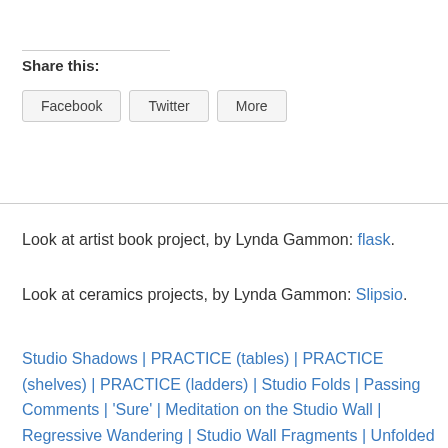Share this:
Facebook
Twitter
More
Look at artist book project, by Lynda Gammon: flask.
Look at ceramics projects, by Lynda Gammon: Slipsio.
Studio Shadows | PRACTICE (tables) | PRACTICE (shelves) | PRACTICE (ladders) | Studio Folds | Passing Comments | 'Sure' | Meditation on the Studio Wall | Regressive Wandering | Studio Wall Fragments | Unfolded | Studio